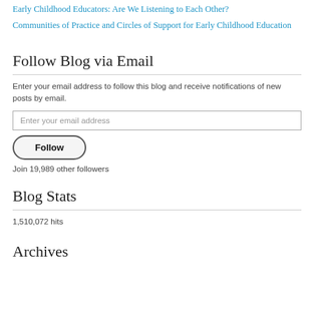Early Childhood Educators: Are We Listening to Each Other?
Communities of Practice and Circles of Support for Early Childhood Education
Follow Blog via Email
Enter your email address to follow this blog and receive notifications of new posts by email.
Enter your email address
Follow
Join 19,989 other followers
Blog Stats
1,510,072 hits
Archives